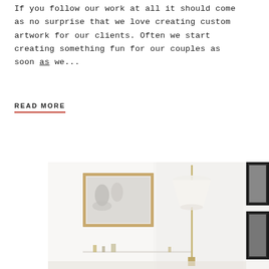If you follow our work at all it should come as no surprise that we love creating custom artwork for our clients. Often we start creating something fun for our couples as soon as we...
READ MORE
[Figure (photo): Interior room photo showing a framed artwork on a white wall, a tall floor lamp with white shade, and small decorative objects on a shelf. Dark framed artworks visible on the right edge.]